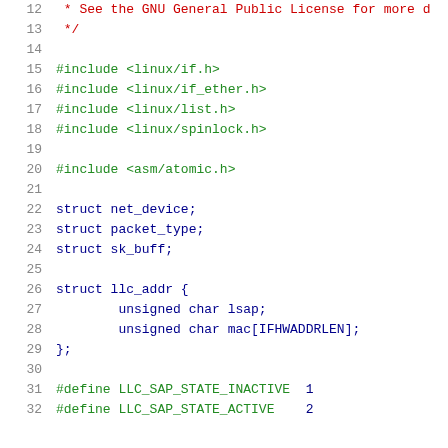12   * See the GNU General Public License for more d
13   */
14
15   #include <linux/if.h>
16   #include <linux/if_ether.h>
17   #include <linux/list.h>
18   #include <linux/spinlock.h>
19
20   #include <asm/atomic.h>
21
22   struct net_device;
23   struct packet_type;
24   struct sk_buff;
25
26   struct llc_addr {
27           unsigned char lsap;
28           unsigned char mac[IFHWADDRLEN];
29   };
30
31   #define LLC_SAP_STATE_INACTIVE  1
32   #define LLC_SAP_STATE_ACTIVE    2